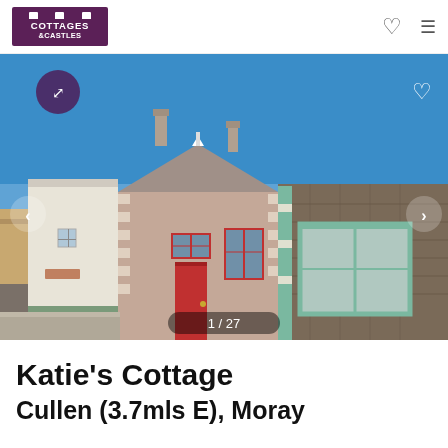Cottages & Castles
[Figure (photo): Street view of a row of traditional Scottish stone cottages with a red door in Cullen, Moray. Blue sky, gray road in foreground. Image counter shows 1 / 27.]
Katie's Cottage
Cullen (3.7mls E), Moray